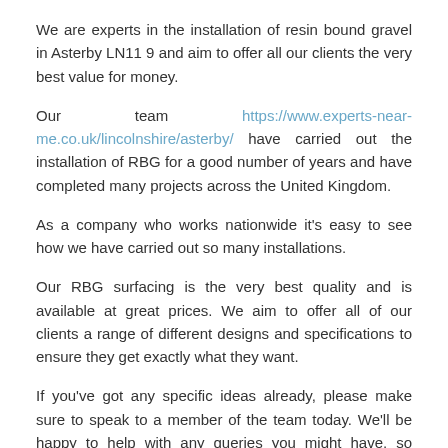We are experts in the installation of resin bound gravel in Asterby LN11 9 and aim to offer all our clients the very best value for money.
Our team https://www.experts-near-me.co.uk/lincolnshire/asterby/ have carried out the installation of RBG for a good number of years and have completed many projects across the United Kingdom.
As a company who works nationwide it's easy to see how we have carried out so many installations.
Our RBG surfacing is the very best quality and is available at great prices. We aim to offer all of our clients a range of different designs and specifications to ensure they get exactly what they want.
If you've got any specific ideas already, please make sure to speak to a member of the team today. We'll be happy to help with any queries you might have, so please do not worry about contacting us with your concerns.
Resin Driveways Near Me